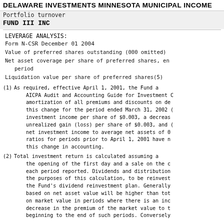DELAWARE INVESTMENTS MINNESOTA MUNICIPAL INCOME
Portfolio turnover
FUND III INC
LEVERAGE ANALYSIS:
Form N-CSR                               December 01 2004
Value of preferred shares outstanding (000 omitted)
Net asset coverage per share of preferred shares, en period
Liquidation value per share of preferred shares(5)
(1) As required, effective April 1, 2001, the Fund a AICPA Audit and Accounting Guide for Investment C amortization of all premiums and discounts on de this change for the period ended March 31, 2002 investment income per share of $0.003, a decreas unrealized gain (loss) per share of $0.003, and net investment income to average net assets of 0 ratios for periods prior to April 1, 2001 have n this change in accounting.
(2) Total investment return is calculated assuming a the opening of the first day and a sale on the c each period reported. Dividends and distribution the purposes of this calculation, to be reinvest the Fund's dividend reinvestment plan. Generally based on net asset value will be higher than tot on market value in periods where there is an inc decrease in the premium of the market value to t beginning to the end of such periods. Conversely